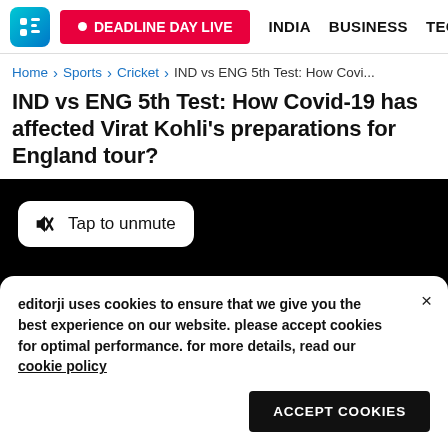DEADLINE DAY LIVE | INDIA | BUSINESS | TECH | EN
Home > Sports > Cricket > IND vs ENG 5th Test: How Covi...
IND vs ENG 5th Test: How Covid-19 has affected Virat Kohli's preparations for England tour?
[Figure (screenshot): Black video player area with a white pill-shaped 'Tap to unmute' button in the top left corner, showing a muted speaker icon.]
editorji uses cookies to ensure that we give you the best experience on our website. please accept cookies for optimal performance. for more details, read our cookie policy
ACCEPT COOKIES